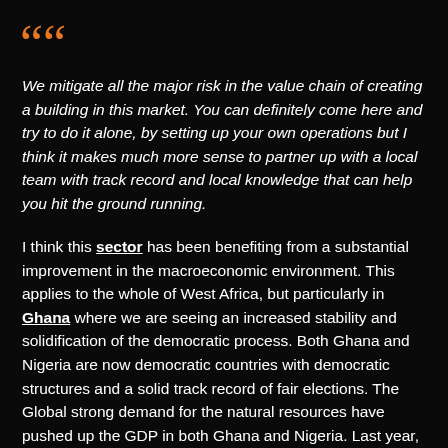““
We mitigate all the major risk in the value chain of creating a building in this market. You can definitely come here and try to do it alone, by setting up your own operations but I think it makes much more sense to partner up with a local team with track record and local knowledge that can help you hit the ground running.
I think this sector has been benefiting from a substantial improvement in the macroeconomic environment. This applies to the whole of West Africa, but particularly in Ghana where we are seeing an increased stability and solidification of the democratic process. Both Ghana and Nigeria are now democratic countries with democratic structures and a solid track record of fair elections. The Global strong demand for the natural resources have pushed up the GDP in both Ghana and Nigeria. Last year,